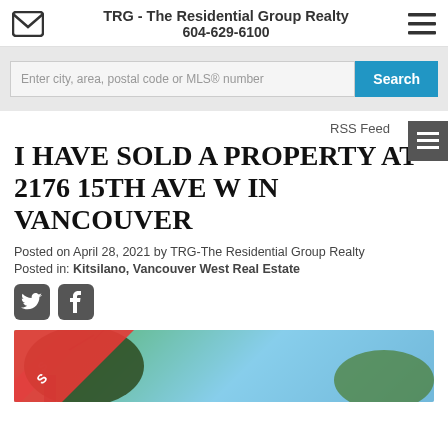TRG - The Residential Group Realty
604-629-6100
Enter city, area, postal code or MLS® number
Search
RSS Feed
I HAVE SOLD A PROPERTY AT 2176 15TH AVE W in Vancouver
Posted on April 28, 2021 by TRG-The Residential Group Realty
Posted in: Kitsilano, Vancouver West Real Estate
[Figure (photo): Property photo with sold ribbon banner]